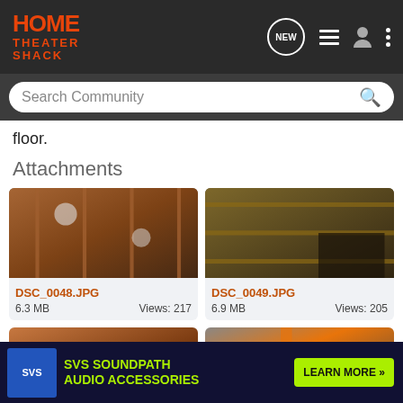[Figure (screenshot): Home Theater Shack website navigation bar with logo and icons]
floor.
Attachments
[Figure (photo): Construction photo showing ceiling joists and recessed lighting - DSC_0048.JPG, 6.3 MB, Views: 217]
[Figure (photo): Construction photo showing ceiling framing with insulation - DSC_0049.JPG, 6.9 MB, Views: 205]
[Figure (photo): Construction photo partially visible - bottom row left]
[Figure (photo): Construction photo partially visible - bottom row right]
[Figure (other): SVS SoundPath Audio Accessories advertisement banner with LEARN MORE button]